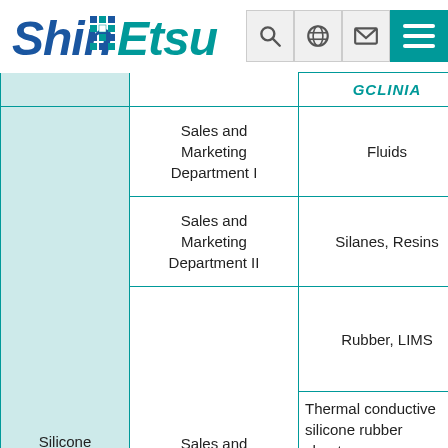[Figure (logo): Shin-Etsu logo with blue italic text and stylized icon]
| Division | Department | Products |
| --- | --- | --- |
|  |  | GCLINIA (cut off) |
|  | Sales and Marketing Department I | Fluids |
|  | Sales and Marketing Department II | Silanes, Resins |
|  |  | Rubber, LIMS |
| Silicone Division | Sales and Marketing... | Thermal conductive silicone rubber sheets (cut off) |